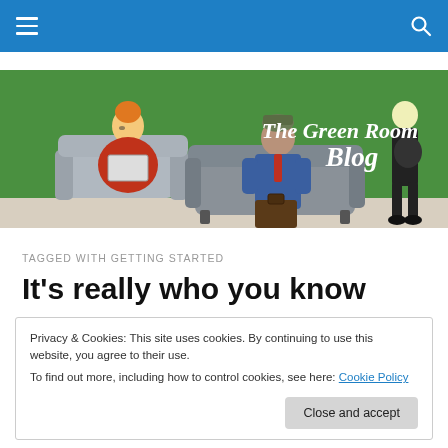Navigation bar with hamburger menu and search icon
[Figure (illustration): The Green Room Blog banner illustration showing cartoon characters: a woman in red dress in armchair with laptop, a man in blue suit on grey sofa, and a standing figure in black. Text overlay reads 'The Green Room Blog' in white handwritten font on green background.]
TAGGED WITH GETTING STARTED
It's really who you know
Privacy & Cookies: This site uses cookies. By continuing to use this website, you agree to their use.
To find out more, including how to control cookies, see here: Cookie Policy
and in less than an hour, she helps me plan out my current